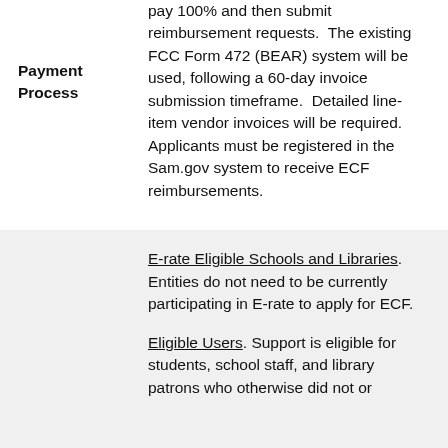pay 100% and then submit reimbursement requests.  The existing FCC Form 472 (BEAR) system will be used, following a 60-day invoice submission timeframe.  Detailed line-item vendor invoices will be required.  Applicants must be registered in the Sam.gov system to receive ECF reimbursements.
Payment Process
E-rate Eligible Schools and Libraries. Entities do not need to be currently participating in E-rate to apply for ECF.
Eligible Users. Support is eligible for students, school staff, and library patrons who otherwise did not or
Eligible